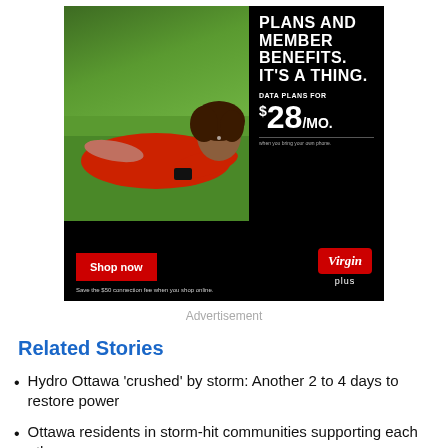[Figure (illustration): Virgin Plus advertisement. Black background with woman lying on grass holding a phone (left side). Right side shows text: PLANS AND MEMBER BENEFITS. IT'S A THING. DATA PLANS FOR $28/MO. Fine print text. Bottom: red Shop Now button. Save the $50 connection fee when you shop online. Virgin plus logo.]
Advertisement
Related Stories
Hydro Ottawa 'crushed' by storm: Another 2 to 4 days to restore power
Ottawa residents in storm-hit communities supporting each other
The power of the storm: Clarence-Rockland farmer's silo pushed off foundation